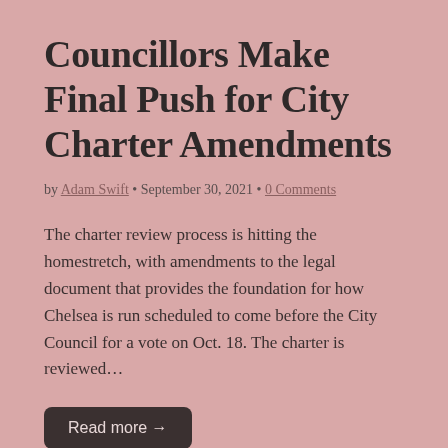Councillors Make Final Push for City Charter Amendments
by Adam Swift • September 30, 2021 • 0 Comments
The charter review process is hitting the homestretch, with amendments to the legal document that provides the foundation for how Chelsea is run scheduled to come before the City Council for a vote on Oct. 18. The charter is reviewed…
Read more →
City Manager Gives Update on Tax Title Properties